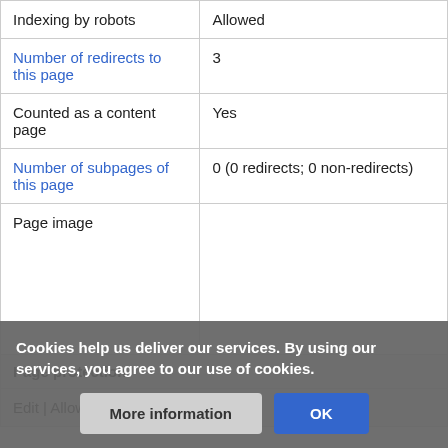| Indexing by robots | Allowed |
| Number of redirects to this page | 3 |
| Counted as a content page | Yes |
| Number of subpages of this page | 0 (0 redirects; 0 non-redirects) |
| Page image |  |
| Page protection |  |
| Edit | Allow all users (infinite) |  |
Cookies help us deliver our services. By using our services, you agree to our use of cookies.